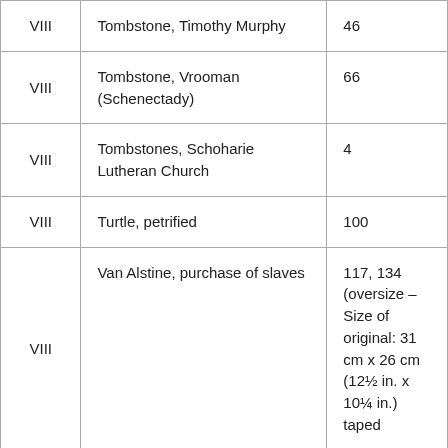| VIII | Tombstone, Timothy Murphy | 46 |
| VIII | Tombstone, Vrooman (Schenectady) | 66 |
| VIII | Tombstones, Schoharie Lutheran Church | 4 |
| VIII | Turtle, petrified | 100 |
| VIII | Van Alstine, purchase of slaves | 117, 134 (oversize – Size of original: 31 cm x 26 cm (12½ in. x 10¼ in.) taped |